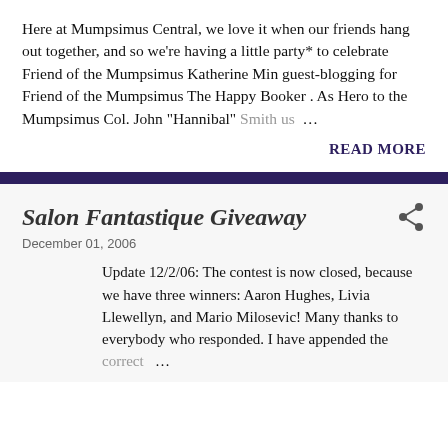Here at Mumpsimus Central, we love it when our friends hang out together, and so we're having a little party* to celebrate Friend of the Mumpsimus Katherine Min guest-blogging for Friend of the Mumpsimus The Happy Booker . As Hero to the Mumpsimus Col. John "Hannibal" Smith us …
READ MORE
Salon Fantastique Giveaway
December 01, 2006
Update 12/2/06: The contest is now closed, because we have three winners: Aaron Hughes, Livia Llewellyn, and Mario Milosevic! Many thanks to everybody who responded. I have appended the correct …